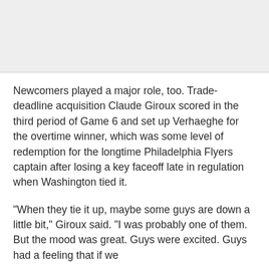[Figure (photo): Gray placeholder image area at top of page]
Newcomers played a major role, too. Trade-deadline acquisition Claude Giroux scored in the third period of Game 6 and set up Verhaeghe for the overtime winner, which was some level of redemption for the longtime Philadelphia Flyers captain after losing a key faceoff late in regulation when Washington tied it.
“When they tie it up, maybe some guys are down a little bit,” Giroux said. “I was probably one of them. But the mood was great. Guys were excited. Guys had a feeling that if we